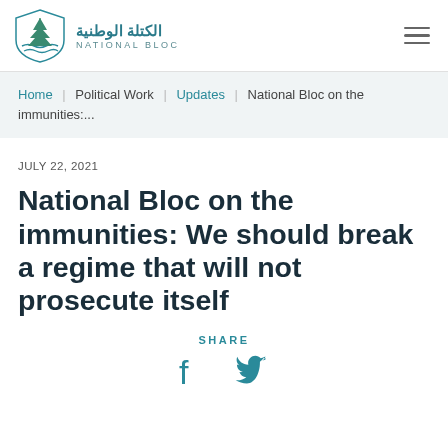الكتلة الوطنية | NATIONAL BLOC
Home | Political Work | Updates | National Bloc on the immunities:...
JULY 22, 2021
National Bloc on the immunities: We should break a regime that will not prosecute itself
SHARE